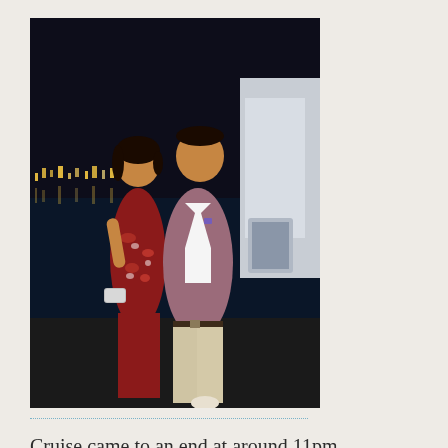[Figure (photo): A couple posing at night on a boat/cruise. The woman is wearing a red floral dress and holding a silver clutch. The man is wearing a mauve/pink blazer and light trousers. City lights are visible in the background on the water.]
Cruise came to an end at around 11pm, everyone back at the Wharf smiling, relaxed hoping for another fun filled cruise next year, all for a good cause that is to